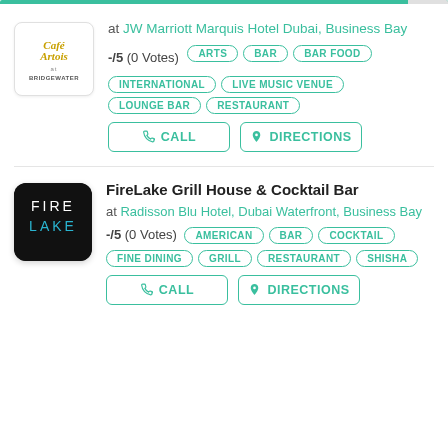[Figure (logo): Café Artois at Bridgewater logo, white background with text]
at JW Marriott Marquis Hotel Dubai, Business Bay
-/5 (0 Votes)
ARTS
BAR
BAR FOOD
INTERNATIONAL
LIVE MUSIC VENUE
LOUNGE BAR
RESTAURANT
CALL
DIRECTIONS
FireLake Grill House & Cocktail Bar
[Figure (logo): FireLake logo on black background, text FIRE LAKE with blue accent]
at Radisson Blu Hotel, Dubai Waterfront, Business Bay
-/5 (0 Votes)
AMERICAN
BAR
COCKTAIL
FINE DINING
GRILL
RESTAURANT
SHISHA
CALL
DIRECTIONS